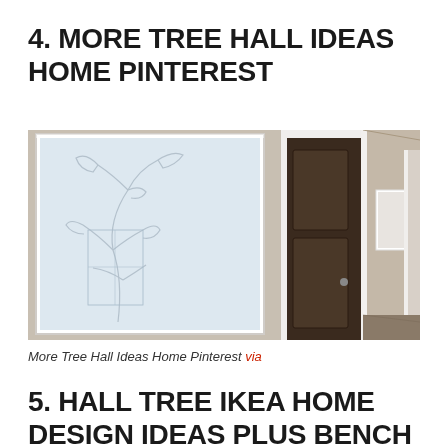4. MORE TREE HALL IDEAS HOME PINTEREST
[Figure (photo): Interior hallway photo showing a large framed artwork with abstract tree/floral line drawing on the left wall, a dark wooden door in the center background, and a white corridor with another framed picture on the right wall. Beige/taupe walls.]
More Tree Hall Ideas Home Pinterest via
5. HALL TREE IKEA HOME DESIGN IDEAS PLUS BENCH ALONG